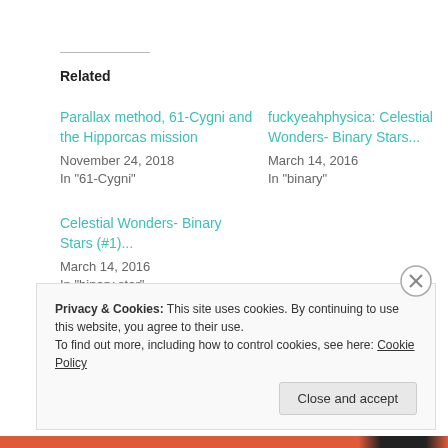Related
Parallax method, 61-Cygni and the Hipporcas mission
November 24, 2018
In "61-Cygni"
fuckyeahphysica: Celestial Wonders- Binary Stars...
March 14, 2016
In "binary"
Celestial Wonders- Binary Stars (#1)...
March 14, 2016
In "binary star"
Privacy & Cookies: This site uses cookies. By continuing to use this website, you agree to their use.
To find out more, including how to control cookies, see here: Cookie Policy